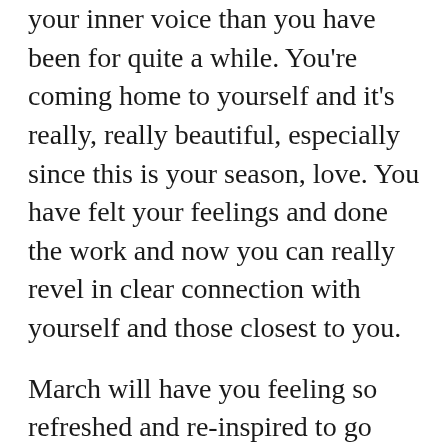your inner voice than you have been for quite a while. You're coming home to yourself and it's really, really beautiful, especially since this is your season, love. You have felt your feelings and done the work and now you can really revel in clear connection with yourself and those closest to you.
March will have you feeling so refreshed and re-inspired to go after what you want. Try setting three attainable goals for yourself that you can do every single day to keep yourself in this state of alignment (for example, make your bed, drink enough water, meditate, clear your desk everyday, etc.)–the point of this is that if you actually do it, you know these are things that make you feel good, but also when you do it